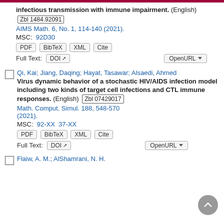infectious transmission with immune impairment. (English) Zbl 1484.92091 AIMS Math. 6, No. 1, 114-140 (2021). MSC: 92D30
Qi, Kai; Jiang, Daqing; Hayat, Tasawar; Alsaedi, Ahmed Virus dynamic behavior of a stochastic HIV/AIDS infection model including two kinds of target cell infections and CTL immune responses. (English) Zbl 07429017 Math. Comput. Simul. 188, 548-570 (2021). MSC: 92-XX 37-XX
Flaiw, A. M.; AlShamrani, N. H.